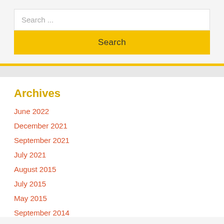Search ...
Search
Archives
June 2022
December 2021
September 2021
July 2021
August 2015
July 2015
May 2015
September 2014